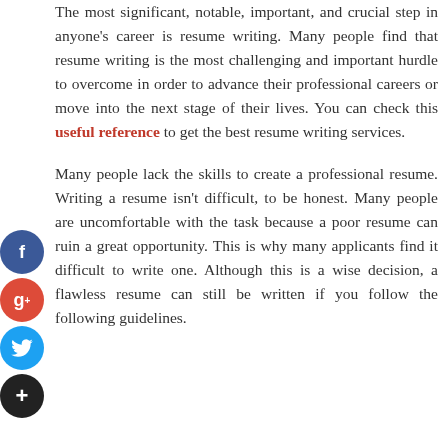The most significant, notable, important, and crucial step in anyone's career is resume writing. Many people find that resume writing is the most challenging and important hurdle to overcome in order to advance their professional careers or move into the next stage of their lives. You can check this useful reference to get the best resume writing services.
Many people lack the skills to create a professional resume. Writing a resume isn't difficult, to be honest. Many people are uncomfortable with the task because a poor resume can ruin a great opportunity. This is why many applicants find it difficult to write one. Although this is a wise decision, a flawless resume can still be written if you follow the following guidelines.